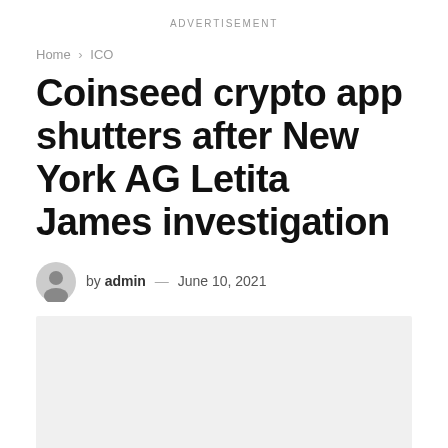ADVERTISEMENT
Home › ICO
Coinseed crypto app shutters after New York AG Letita James investigation
by admin — June 10, 2021
[Figure (other): Light gray rectangular image placeholder]